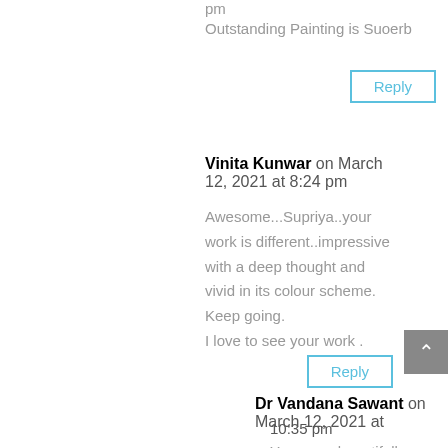pm
Outstanding Painting is Suoerb
Reply
Vinita Kunwar on March 12, 2021 at 8:24 pm
Awesome...Supriya..your work is different..impressive with a deep thought and vivid in its colour scheme.
Keep going.
I love to see your work .
Reply
Dr Vandana Sawant on March 12, 2021 at 10:35 pm
You are a beautiful something...